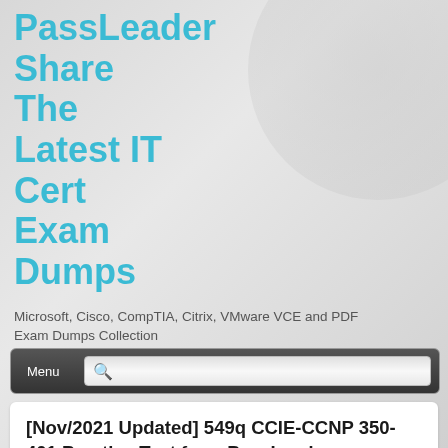PassLeader Share The Latest IT Cert Exam Dumps
Microsoft, Cisco, CompTIA, Citrix, VMware VCE and PDF Exam Dumps Collection
Menu
[Nov/2021 Updated] 549q CCIE-CCNP 350-401 Practice Test from PassLeader Guarantee 100% Passing Exam